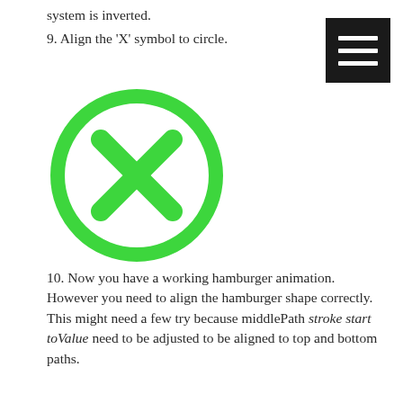system is inverted.
9. Align the 'X' symbol to circle.
[Figure (illustration): A green circle with a green X symbol inside, representing a close/cancel button icon.]
[Figure (illustration): A black square hamburger menu icon with three white horizontal lines.]
10. Now you have a working hamburger animation. However you need to align the hamburger shape correctly. This might need a few try because middlePath stroke start toValue need to be adjusted to be aligned to top and bottom paths.